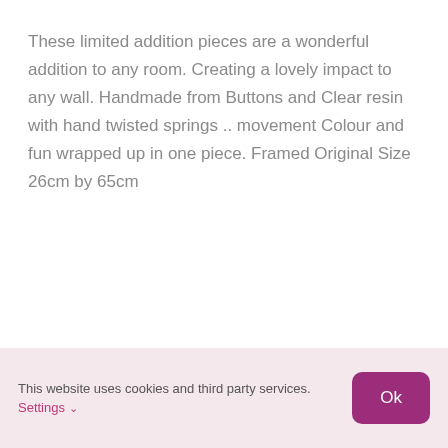These limited addition pieces are a wonderful addition to any room. Creating a lovely impact to any wall. Handmade from Buttons and Clear resin with hand twisted springs .. movement Colour and fun wrapped up in one piece. Framed Original Size 26cm by 65cm
This website uses cookies and third party services. Settings